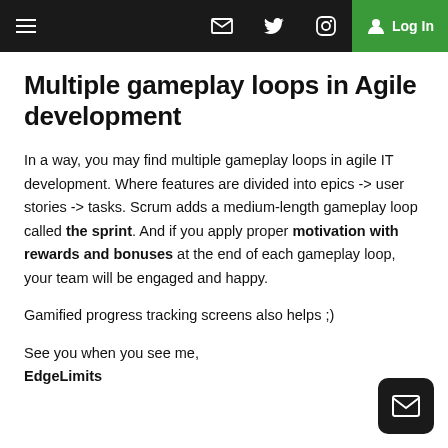Navigation bar with hamburger menu, email, twitter, instagram icons, and Log In button
Multiple gameplay loops in Agile development
In a way, you may find multiple gameplay loops in agile IT development. Where features are divided into epics -> user stories -> tasks. Scrum adds a medium-length gameplay loop called the sprint. And if you apply proper motivation with rewards and bonuses at the end of each gameplay loop, your team will be engaged and happy.
Gamified progress tracking screens also helps ;)
See you when you see me,
EdgeLimits